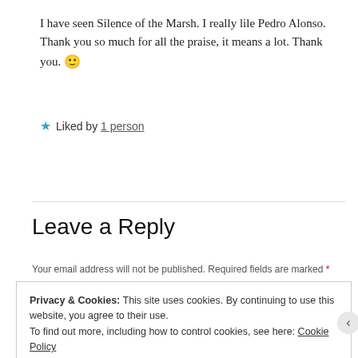I have seen Silence of the Marsh. I really lile Pedro Alonso. Thank you so much for all the praise, it means a lot. Thank you. 🙂
★ Liked by 1 person
REPLY
Leave a Reply
Your email address will not be published. Required fields are marked *
Privacy & Cookies: This site uses cookies. By continuing to use this website, you agree to their use. To find out more, including how to control cookies, see here: Cookie Policy